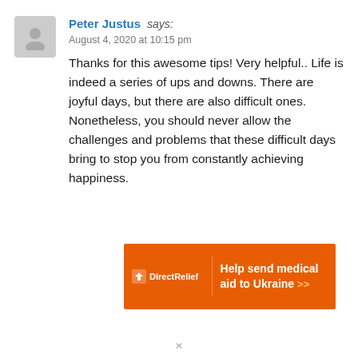Peter Justus says: August 4, 2020 at 10:15 pm
Thanks for this awesome tips! Very helpful.. Life is indeed a series of ups and downs. There are joyful days, but there are also difficult ones. Nonetheless, you should never allow the challenges and problems that these difficult days bring to stop you from constantly achieving happiness.
[Figure (infographic): Orange Direct Relief advertisement banner: Help send medical aid to Ukraine >>]